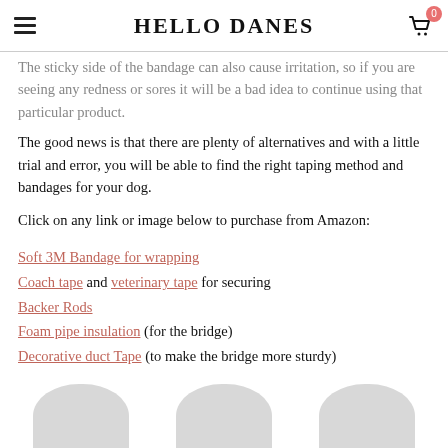HELLO DANES
The sticky side of the bandage can also cause irritation, so if you are seeing any redness or sores it will be a bad idea to continue using that particular product.
The good news is that there are plenty of alternatives and with a little trial and error, you will be able to find the right taping method and bandages for your dog.
Click on any link or image below to purchase from Amazon:
Soft 3M Bandage for wrapping
Coach tape and veterinary tape for securing
Backer Rods
Foam pipe insulation (for the bridge)
Decorative duct Tape (to make the bridge more sturdy)
[Figure (photo): Three circular/oval product images at the bottom of the page showing dog ear taping products]